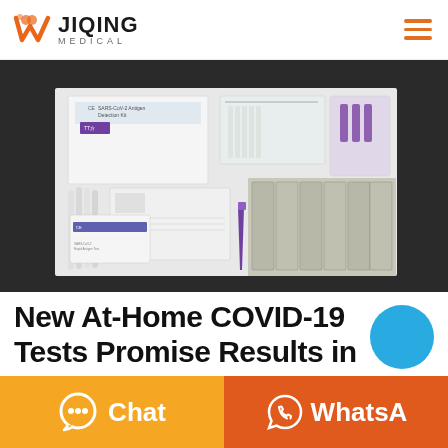[Figure (logo): JIQING MEDICAL logo with orange W icon]
[Figure (photo): COVID-19 antigen detection kit product photo showing test swabs, test strips in foil packets, buffer solution vials, and a white box labeled SARS-CoV-2 Antigen Detection Kit]
New At-Home COVID-19 Tests Promise Results in
[Figure (other): Blue circular chat button element]